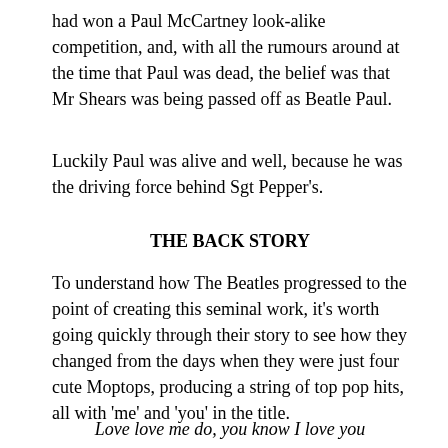had won a Paul McCartney look-alike competition, and, with all the rumours around at the time that Paul was dead, the belief was that Mr Shears was being passed off as Beatle Paul.
Luckily Paul was alive and well, because he was the driving force behind Sgt Pepper's.
THE BACK STORY
To understand how The Beatles progressed to the point of creating this seminal work, it's worth going quickly through their story to see how they changed from the days when they were just four cute Moptops, producing a string of top pop hits, all with 'me' and 'you' in the title.
Love love me do, you know I love you